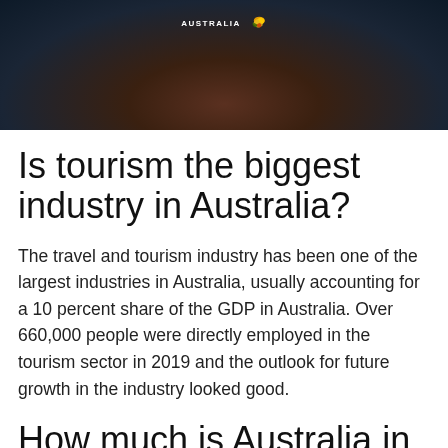[Figure (photo): Dark atmospheric photo of rocky Australian coastal landscape at night or dusk, with Australia tourism logo overlay at top center]
Is tourism the biggest industry in Australia?
The travel and tourism industry has been one of the largest industries in Australia, usually accounting for a 10 percent share of the GDP in Australia. Over 660,000 people were directly employed in the tourism sector in 2019 and the outlook for future growth in the industry looked good.
How much is Australia in debt?